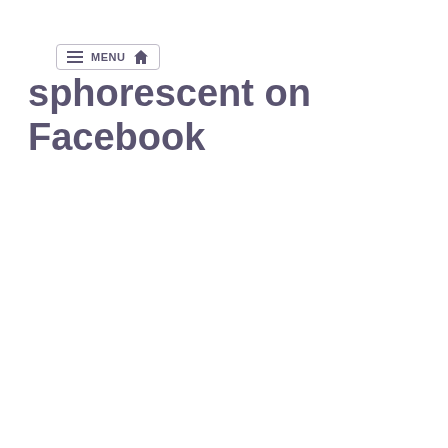MENU [home] sphorescent on Facebook
sphorescent on Facebook